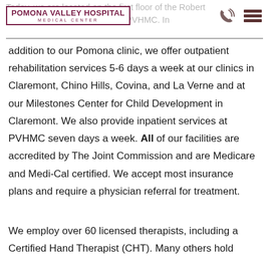Pomona Valley Hospital Medical Center
Today, we are located on the first floor of the Robert and and Outpatient Pavilion at PVHMC. In addition to our Pomona clinic, we offer outpatient rehabilitation services 5-6 days a week at our clinics in Claremont, Chino Hills, Covina, and La Verne and at our Milestones Center for Child Development in Claremont. We also provide inpatient services at PVHMC seven days a week. All of our facilities are accredited by The Joint Commission and are Medicare and Medi-Cal certified. We accept most insurance plans and require a physician referral for treatment.
We employ over 60 licensed therapists, including a Certified Hand Therapist (CHT). Many others hold